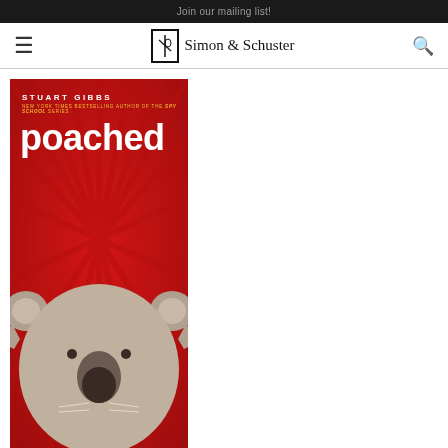Join our mailing list!
[Figure (logo): Simon & Schuster publisher logo with navigation bar including hamburger menu and search icon]
[Figure (illustration): Book cover of 'Poached' by Stuart Gibbs. Red background with illustrated koala face at the bottom. Author name in bold white uppercase letters at top. Subtitle in yellow: 'New York Times Bestselling Author of the spy school series'. Title 'poached' in large bold white lowercase letters.]